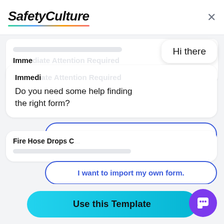[Figure (screenshot): SafetyCulture logo with italic bold text and multicolor underline gradient]
[Figure (screenshot): Chat widget overlay showing: 'Hi there' greeting bubble, bot message asking 'Do you need some help finding the right form?', three reply buttons: 'Yes, I'd like some help.', 'I want to import my own form.', 'No, I'm good. Thanks!', background list items including 'Immediate Attention Required' and 'Fire Hose Drops C...']
Use this Template